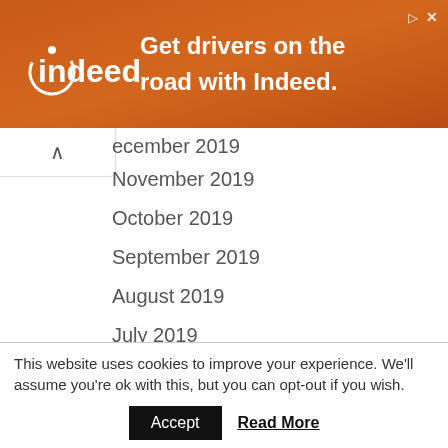[Figure (other): Indeed advertisement banner: orange/brown gradient background with Indeed logo and text 'Get drivers on the road with Indeed.']
ecember 2019
November 2019
October 2019
September 2019
August 2019
July 2019
June 2019
May 2019
April 2019
This website uses cookies to improve your experience. We'll assume you're ok with this, but you can opt-out if you wish. Accept  Read More